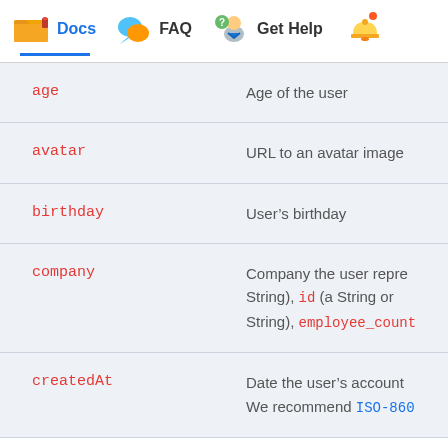Docs  FAQ  Get Help
| Field | Description |
| --- | --- |
| age | Age of the user |
| avatar | URL to an avatar image |
| birthday | User's birthday |
| company | Company the user repre... String), id (a String or String), employee_count |
| createdAt | Date the user's account... We recommend ISO-860 |
| description | Description of the user |